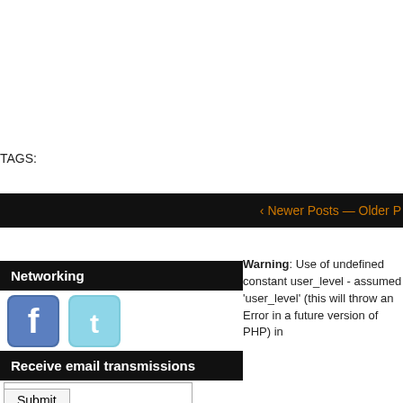TAGS:
‹ Newer Posts — Older P
Networking
[Figure (illustration): Facebook and Twitter social media icons side by side]
Warning: Use of undefined constant user_level - assumed 'user_level' (this will throw an Error in a future version of PHP) in
Receive email transmissions